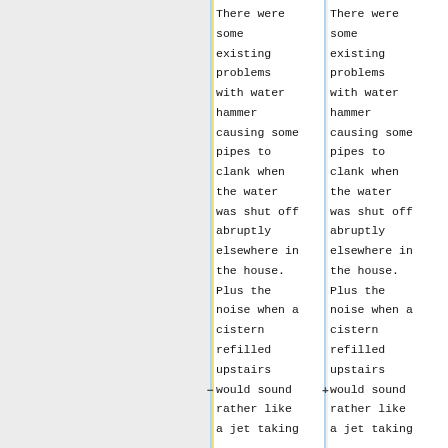There were some existing problems with water hammer causing some pipes to clank when the water was shut off abruptly elsewhere in the house. Plus the noise when a cistern refilled upstairs would sound rather like a jet taking
There were some existing problems with water hammer causing some pipes to clank when the water was shut off abruptly elsewhere in the house. Plus the noise when a cistern refilled upstairs would sound rather like a jet taking